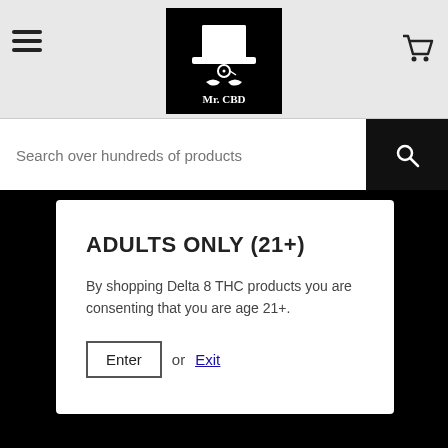[Figure (logo): Mr. CBD logo: white top hat, monocle, mustache on black background with text 'Mr. CBD']
Search over hundreds of products
ADULTS ONLY (21+)
By shopping Delta 8 THC products you are consenting that you are age 21+.
Enter  or  Exit